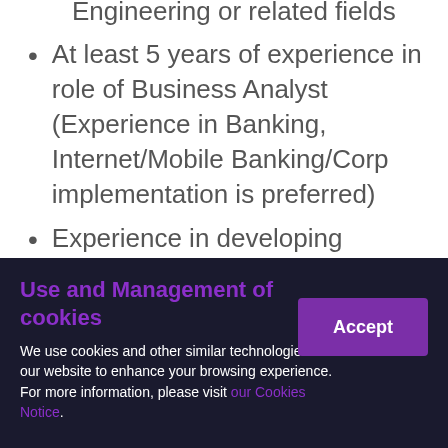Engineering or related fields
At least 5 years of experience in role of Business Analyst (Experience in Banking, Internet/Mobile Banking/Corp implementation is preferred)
Experience in developing business process maps and formal requirements documentation such as business
Use and Management of cookies
We use cookies and other similar technologies on our website to enhance your browsing experience. For more information, please visit our Cookies Notice.